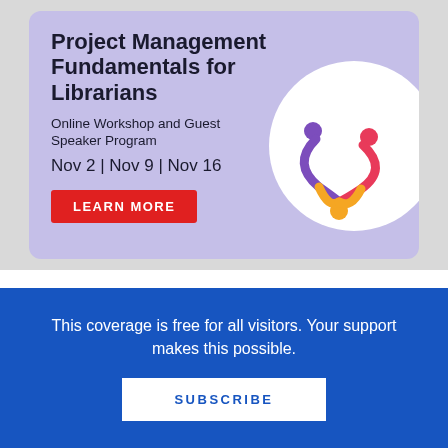[Figure (infographic): Advertisement banner for 'Project Management Fundamentals for Librarians' online workshop and guest speaker program. Dates: Nov 2 | Nov 9 | Nov 16. Red 'LEARN MORE' button. Purple/lavender background with white circle and colorful logo.]
When I got back, I wrote down the note – kid forced to appreciate nature on a family vacation – and started building what eventually became An Occasionally Happy Family I had been living in
This coverage is free for all visitors. Your support makes this possible.
SUBSCRIBE